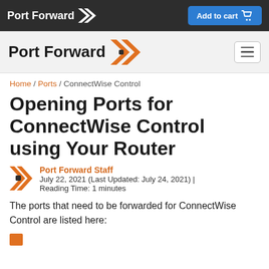Port Forward | Add to cart
[Figure (logo): Port Forward logo with chevron icon in white nav bar]
Home / Ports / ConnectWise Control
Opening Ports for ConnectWise Control using Your Router
Port Forward Staff
July 22, 2021 (Last Updated: July 24, 2021) | Reading Time: 1 minutes
The ports that need to be forwarded for ConnectWise Control are listed here: